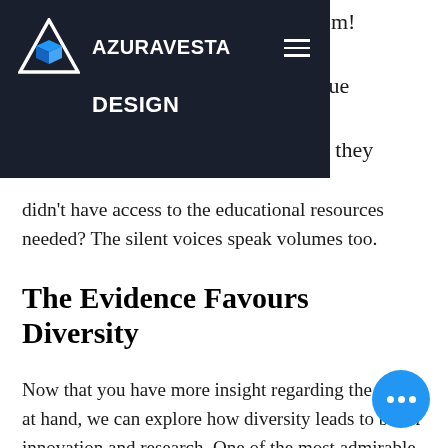AZURAVESTA DESIGN
didn't have access to the educational resources needed? The silent voices speak volumes too.
The Evidence Favours Diversity
Now that you have more insight regarding the issue at hand, we can explore how diversity leads to better innovation and research. One of the most admirable things about the scientific community is their desir[e to] progress humanity, as a whole;